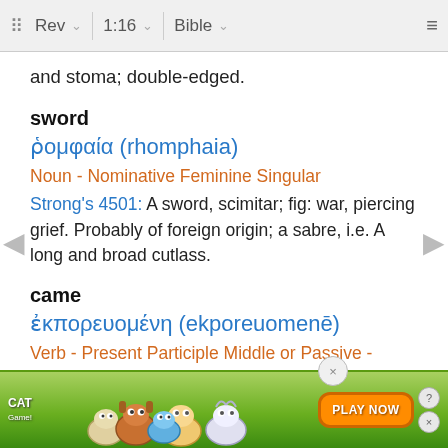⠿ Rev ∨  1:16 ∨  Bible ∨  ≡
and stoma; double-edged.
sword
ῥομφαία (rhomphaia)
Noun - Nominative Feminine Singular
Strong's 4501: A sword, scimitar; fig: war, piercing grief. Probably of foreign origin; a sabre, i.e. A long and broad cutlass.
came
ἐκπορευομένη (ekporeuomenē)
Verb - Present Participle Middle or Passive - Nominative Feminine Singular
Strong's 1607: From ek and poreuomai; to depart, be dis...